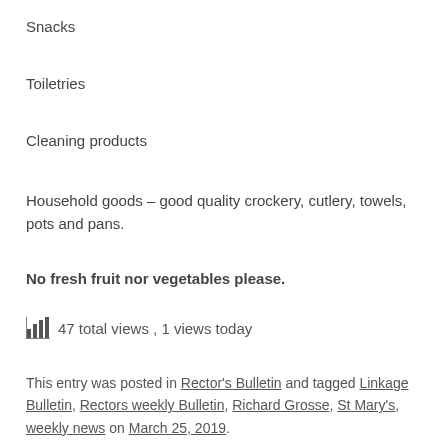Snacks
Toiletries
Cleaning products
Household goods – good quality crockery, cutlery, towels, pots and pans.
No fresh fruit nor vegetables please.
47 total views , 1 views today
This entry was posted in Rector's Bulletin and tagged Linkage Bulletin, Rectors weekly Bulletin, Richard Grosse, St Mary's, weekly news on March 25, 2019.